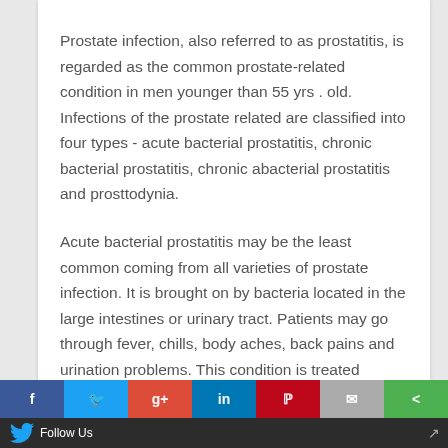Prostate infection, also referred to as prostatitis, is regarded as the common prostate-related condition in men younger than 55 yrs . old. Infections of the prostate related are classified into four types - acute bacterial prostatitis, chronic bacterial prostatitis, chronic abacterial prostatitis and prosttodynia.
Acute bacterial prostatitis may be the least common coming from all varieties of prostate infection. It is brought on by bacteria located in the large intestines or urinary tract. Patients may go through fever, chills, body aches, back pains and urination problems. This condition is treated through the use of antibiotics or
Follow Us